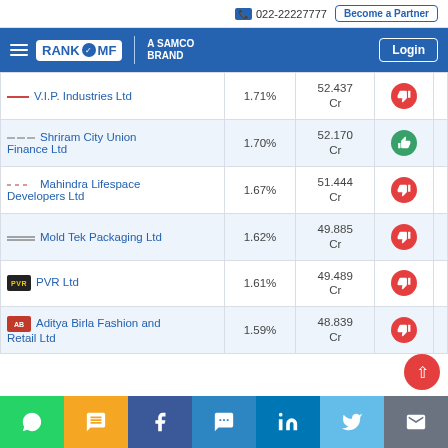022-22227777 | Become a Partner
[Figure (logo): RankMF - A Samco Brand logo with navigation hamburger menu and Login button]
| Company | Allocation % | Amount | Rank |
| --- | --- | --- | --- |
| V.I.P. Industries Ltd | 1.71% | 52.437 Cr | Thumbs Down |
| Shriram City Union Finance Ltd | 1.70% | 52.170 Cr | Thumbs Up |
| Mahindra Lifespace Developers Ltd | 1.67% | 51.444 Cr | Thumbs Down |
| Mold Tek Packaging Ltd | 1.62% | 49.885 Cr | Thumbs Down |
| PVR Ltd | 1.61% | 49.489 Cr | Thumbs Down |
| Aditya Birla Fashion and Retail Ltd | 1.59% | 48.839 Cr | Thumbs Down |
[Figure (infographic): Social media sharing bar: WhatsApp, SMS, Facebook, Messenger, LinkedIn, Twitter, Email]